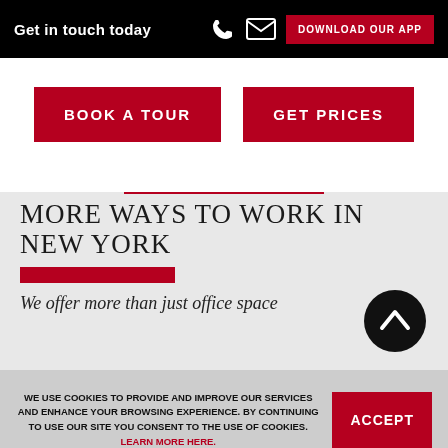Get in touch today | DOWNLOAD OUR APP
BOOK A TOUR
GET PRICES
MORE WAYS TO WORK IN NEW YORK
We offer more than just office space
WE USE COOKIES TO PROVIDE AND IMPROVE OUR SERVICES AND ENHANCE YOUR BROWSING EXPERIENCE. BY CONTINUING TO USE OUR SITE YOU CONSENT TO THE USE OF COOKIES. LEARN MORE HERE.
ACCEPT